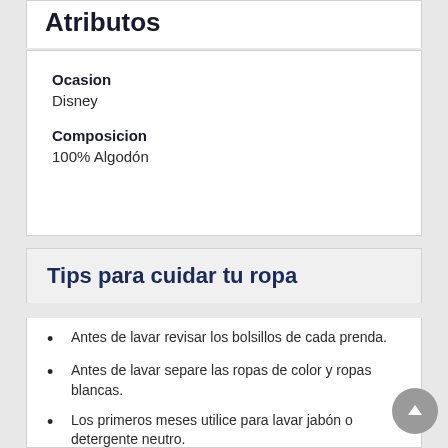Atributos
| Ocasion | Disney |
| Composicion | 100% Algodón |
Tips para cuidar tu ropa
Antes de lavar revisar los bolsillos de cada prenda.
Antes de lavar separe las ropas de color y ropas blancas.
Los primeros meses utilice para lavar jabón o detergente neutro.